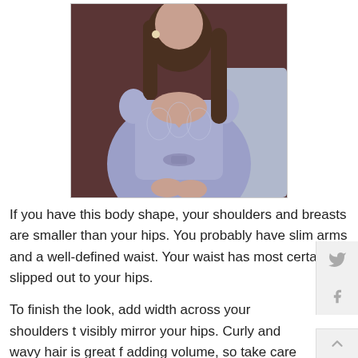[Figure (photo): Woman wearing a light purple/lavender off-shoulder lace ball gown dress, seated, with long wavy brown hair and pearl earrings, photographed from chest level up. Background shows dark upholstered furniture.]
If you have this body shape, your shoulders and breasts are smaller than your hips. You probably have slim arms and a well-defined waist. Your waist has most certainly slipped out to your hips.
To finish the look, add width across your shoulders t visibly mirror your hips. Curly and wavy hair is great f adding volume, so take care of any natural curls in your